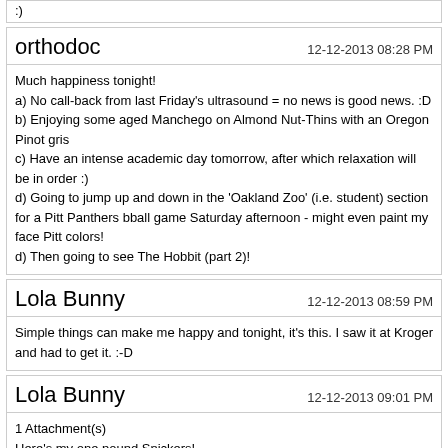:)
orthodoc
12-12-2013 08:28 PM
Much happiness tonight!
a) No call-back from last Friday's ultrasound = no news is good news. :D
b) Enjoying some aged Manchego on Almond Nut-Thins with an Oregon Pinot gris
c) Have an intense academic day tomorrow, after which relaxation will be in order :)
d) Going to jump up and down in the 'Oakland Zoo' (i.e. student) section for a Pitt Panthers bball game Saturday afternoon - might even paint my face Pitt colors!
d) Then going to see The Hobbit (part 2)!
Lola Bunny
12-12-2013 08:59 PM
Simple things can make me happy and tonight, it's this. I saw it at Kroger and had to get it. :-D
Lola Bunny
12-12-2013 09:01 PM
1 Attachment(s)
Here's my one pound Snickers!